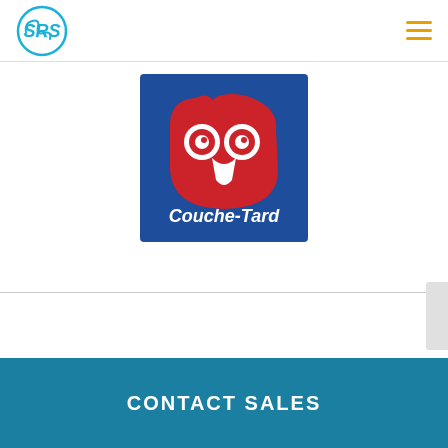SRS logo and navigation
[Figure (logo): Couche-Tard logo: blue square background with red owl graphic and white 'Couche-Tard' text]
CONTACT SALES